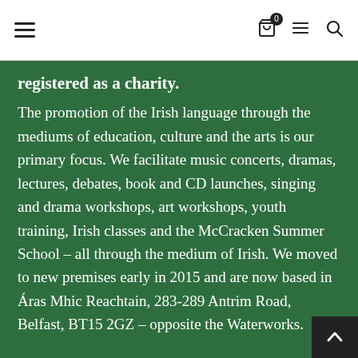Navigation bar with hamburger menu, cart (0), menu, and search icons
registered as a charity.
The promotion of the Irish language through the mediums of education, culture and the arts is our primary focus. We facilitate music concerts, dramas, lectures, debates, book and CD launches, singing and drama workshops, art workshops, youth training, Irish classes and the McCracken Summer School – all through the medium of Irish. We moved to new premises early in 2015 and are now based in Áras Mhic Reachtain, 283-289 Antrim Road, Belfast, BT15 2GZ – opposite the Waterworks.